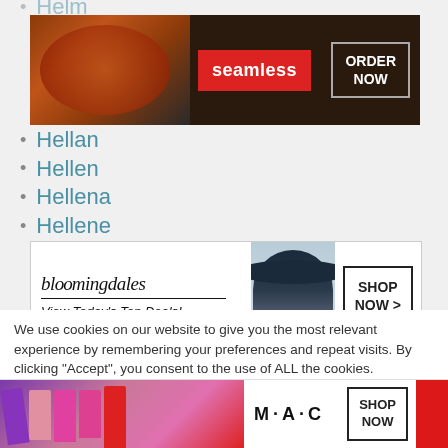Helm (partial, top)
[Figure (screenshot): Seamless food delivery ad banner with pizza image, seamless logo in red, and ORDER NOW button]
Hellan
Hellen
Hellena
Hellene
[Figure (screenshot): Bloomingdales ad banner with logo, View Today's Top Deals tagline, woman in hat image, and SHOP NOW > button]
Helly
Helme (partial, bottom)
We use cookies on our website to give you the most relevant experience by remembering your preferences and repeat visits. By clicking “Accept”, you consent to the use of ALL the cookies.
Do not sell my personal information.
Cookie Settings  Accept  CLOSE
[Figure (screenshot): MAC cosmetics ad banner with lipsticks image, MAC logo, and SHOP NOW button]